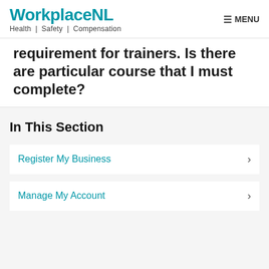WorkplaceNL Health | Safety | Compensation
requirement for trainers. Is there are particular course that I must complete?
In This Section
Register My Business
Manage My Account